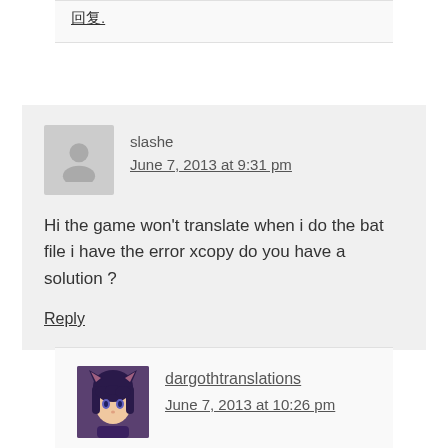回复.
slashe
June 7, 2013 at 9:31 pm
Hi the game won't translate when i do the bat file i have the error xcopy do you have a solution ?
Reply
dargothtranslations
June 7, 2013 at 10:26 pm